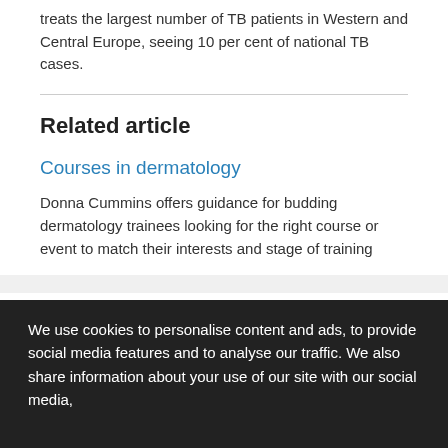treats the largest number of TB patients in Western and Central Europe, seeing 10 per cent of national TB cases.
Related article
Courses in dermatology
Donna Cummins offers guidance for budding dermatology trainees looking for the right course or event to match their interests and stage of training
We use cookies to personalise content and ads, to provide social media features and to analyse our traffic. We also share information about your use of our site with our social media,